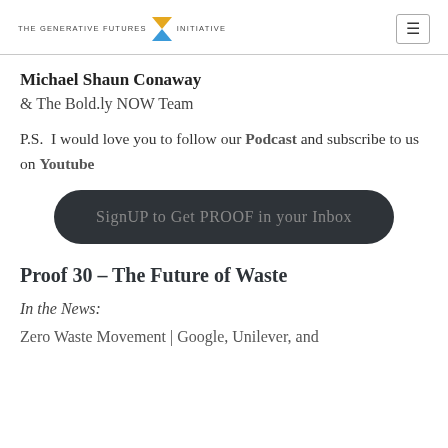THE GENERATIVE FUTURES INITIATIVE
Michael Shaun Conaway
& The Bold.ly NOW Team
P.S.  I would love you to follow our Podcast and subscribe to us on Youtube
[Figure (other): Dark rounded button with text: SignUP to Get PROOF in your Inbox]
Proof 30 – The Future of Waste
In the News:
Zero Waste Movement | Google, Unilever, and